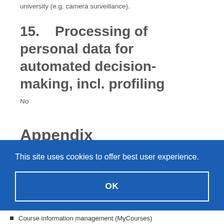university (e.g. camera surveillance).
15.    Processing of personal data for automated decision-making, incl. profiling
No
Appendix
List of the key information systems and services where student personal data are processed
[Figure (screenshot): Cookie consent banner overlay with blue background reading 'This site uses cookies to offer best user experience.' and an OK button with white border.]
Course information management (MyCourses)